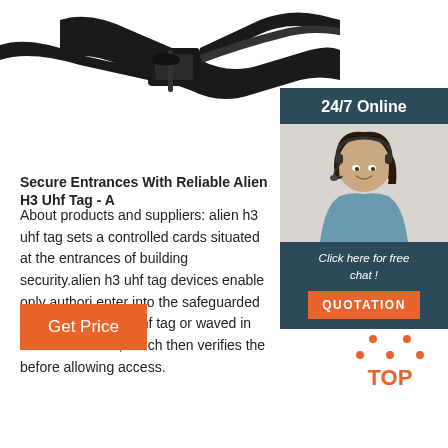[Figure (photo): Close-up photo of a black RFID/UHF tag or buckle/strap device against a white background]
[Figure (photo): Sidebar widget showing a customer service representative (woman with headset) with '24/7 Online' header and 'Click here for free chat!' text and orange QUOTATION button]
Secure Entrances With Reliable Alien H3 Uhf Tag - A
About products and suppliers: alien h3 uhf tag sets a controlled cards situated at the entrances of buildings security.alien h3 uhf tag devices enable only authori enter into the safeguarded area.The alien h3 uhf tag or waved in front of a reader, which then verifies the before allowing access.
[Figure (other): Orange 'Get Price' button]
[Figure (logo): Orange 'TOP' logo with dots arranged in a triangle above the text]